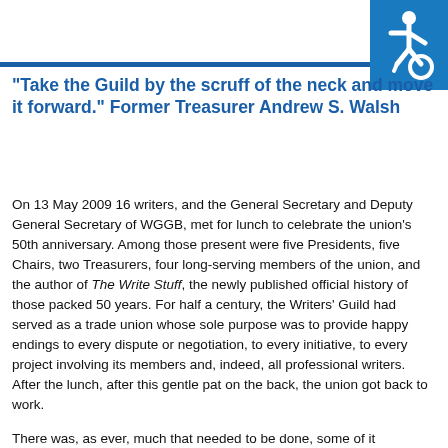[Figure (logo): International Symbol of Access (wheelchair accessibility icon) — white wheelchair symbol on blue square background, top right corner]
"Take the Guild by the scruff of the neck and move it forward." Former Treasurer Andrew S. Walsh
On 13 May 2009 16 writers, and the General Secretary and Deputy General Secretary of WGGB, met for lunch to celebrate the union's 50th anniversary. Among those present were five Presidents, five Chairs, two Treasurers, four long-serving members of the union, and the author of The Write Stuff, the newly published official history of those packed 50 years. For half a century, the Writers' Guild had served as a trade union whose sole purpose was to provide happy endings to every dispute or negotiation, to every initiative, to every project involving its members and, indeed, all professional writers. After the lunch, after this gentle pat on the back, the union got back to work.
There was, as ever, much that needed to be done, some of it desperately. In the immediate aftermath of the national economic crisis of 2008, WGGB was financially in perhaps its worst position ever. This was untimely. The digital revolution had made great advances for writers as they could be seen as their interest as it